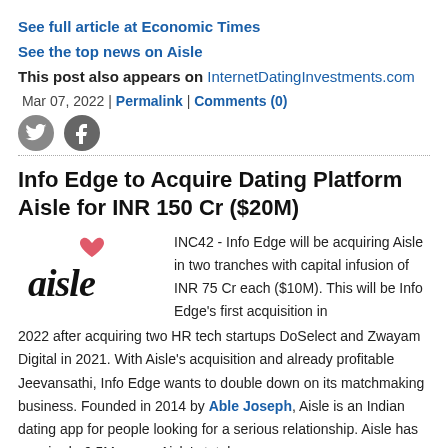See full article at Economic Times
See the top news on Aisle
This post also appears on InternetDatingInvestments.com
Mar 07, 2022 | Permalink | Comments (0)
[Figure (illustration): Twitter and Facebook social share icons]
Info Edge to Acquire Dating Platform Aisle for INR 150 Cr ($20M)
[Figure (logo): Aisle logo with heart icon and stylized handwritten 'aisle' text]
INC42 - Info Edge will be acquiring Aisle in two tranches with capital infusion of INR 75 Cr each ($10M). This will be Info Edge's first acquisition in 2022 after acquiring two HR tech startups DoSelect and Zwayam Digital in 2021. With Aisle's acquisition and already profitable Jeevansathi, Info Edge wants to double down on its matchmaking business. Founded in 2014 by Able Joseph, Aisle is an Indian dating app for people looking for a serious relationship. Aisle has acquired ~6.5M users. Aisle's total